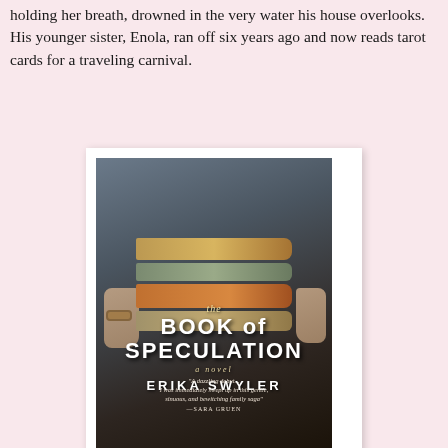holding her breath, drowned in the very water his house overlooks. His younger sister, Enola, ran off six years ago and now reads tarot cards for a traveling carnival.
[Figure (illustration): Book cover of 'The Book of Speculation' by Erika Swyler. A person holds a stack of old books against their body/torso. The cover shows the title in bold white letters and includes a blurb at the bottom.]